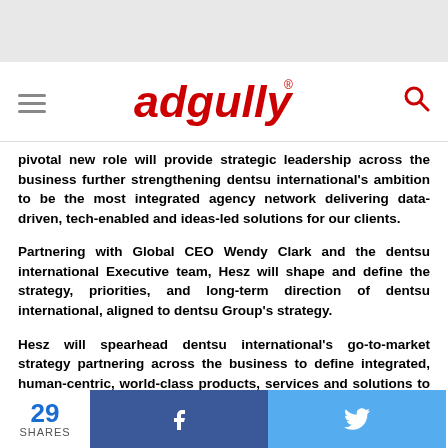[Figure (logo): Adgully logo in red with hamburger menu icon and search icon]
pivotal new role will provide strategic leadership across the business further strengthening dentsu international's ambition to be the most integrated agency network delivering data-driven, tech-enabled and ideas-led solutions for our clients.
Partnering with Global CEO Wendy Clark and the dentsu international Executive team, Hesz will shape and define the strategy, priorities, and long-term direction of dentsu international, aligned to dentsu Group's strategy.
Hesz will spearhead dentsu international's go-to-market strategy partnering across the business to define integrated, human-centric, world-class products, services and solutions to drive growth for clients. Hesz will join the dentsu in 2022.
29 SHARES